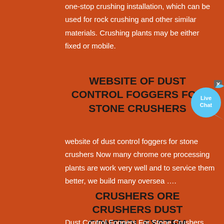one-stop crushing installation, which can be used for rock crushing and other similar materials. Crushing plants may be either fixed or mobile.
WEBSITE OF DUST CONTROL FOGGERS FOR STONE CRUSHERS
[Figure (other): Live Chat bubble widget with close button]
website of dust control foggers for stone crushers Now many chrome ore processing plants are work very well and to service them better, we build many oversea ….
CRUSHERS ORE CRUSHERS DUST CONTROL SYSTEM
Dust Control Foggers For Stone Crushers ceu. Dust suppression system for Stone crusher. A Crushing plant is